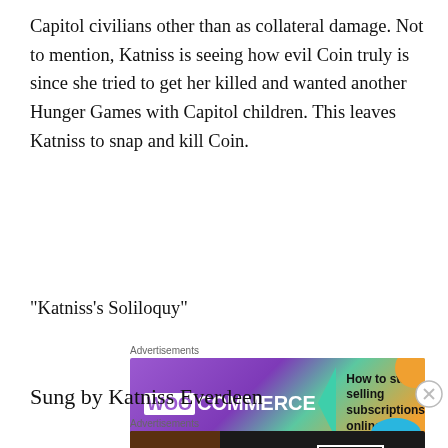Capitol civilians other than as collateral damage. Not to mention, Katniss is seeing how evil Coin truly is since she tried to get her killed and wanted another Hunger Games with Capitol children. This leaves Katniss to snap and kill Coin.
“Katniss’s Soliloquy”
[Figure (other): WooCommerce advertisement: 'How to start selling subscriptions online']
Sung by Katniss Everdeen
[Figure (other): Seamless advertisement: 'ORDER NOW' with pizza image]